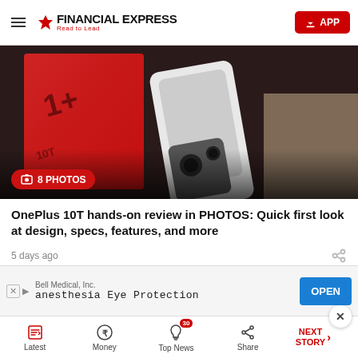FINANCIAL EXPRESS — Read to Lead | APP
[Figure (photo): OnePlus 10T smartphone with red box packaging, photo gallery with 8 PHOTOS badge]
OnePlus 10T hands-on review in PHOTOS: Quick first look at design, specs, features, and more
5 days ago
Bell Medical, Inc. anesthesia Eye Protection OPEN
Latest | Money | Top News 30 | Share | NEXT STORY